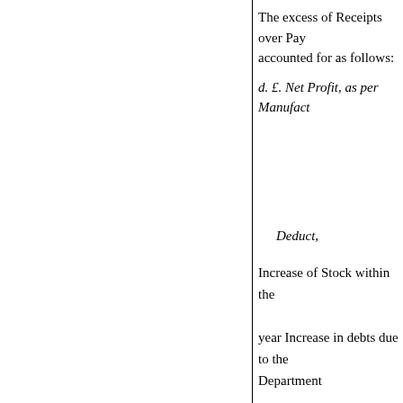The excess of Receipts over Pay accounted for as follows:
d. £. Net Profit, as per Manufact
Deduct,
Increase of Stock within the year Increase in debts due to the Department
190 11 2
45 9 10?
75 18 1